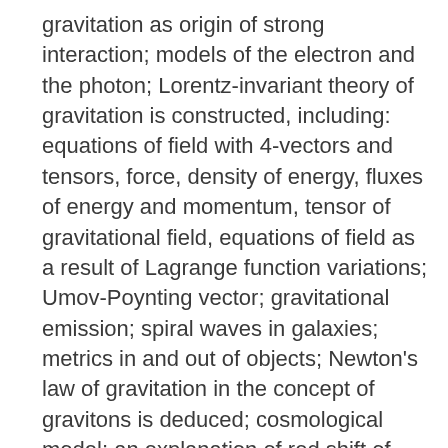gravitation as origin of strong interaction; models of the electron and the photon; Lorentz-invariant theory of gravitation is constructed, including: equations of field with 4-vectors and tensors, force, density of energy, fluxes of energy and momentum, tensor of gravitational field, equations of field as a result of Lagrange function variations; Umov-Poynting vector; gravitational emission; spiral waves in galaxies; metrics in and out of objects; Newton's law of gravitation in the concept of gravitons is deduced; cosmological model; an explanation of red shift of galaxies; path from energy components of fields tensors to the first law of thermodynamics, another definition and formulae of entropy. SP? symmetry of similarity between the basic levels of the matter is introduced. Three new laws of philosophy are